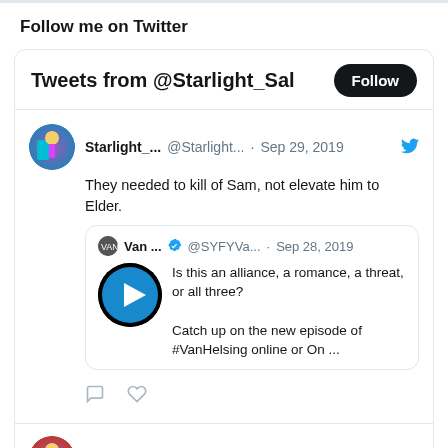Follow me on Twitter
[Figure (screenshot): Twitter widget showing tweets from @Starlight_Sal with a Follow button]
Tweets from @Starlight_Sal
Starlight_... @Starlight... · Sep 29, 2019
They needed to kill of Sam, not elevate him to Elder.
Van ... @SYFYVa... · Sep 28, 2019
Is this an alliance, a romance, a threat, or all three?
Catch up on the new episode of #VanHelsing online or On ...
Starlight_... @Starlight... · Sep 29, 2019
Yikes, I forgot about this show.